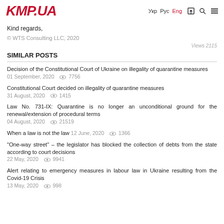KMP.UA  Укр Рус Eng
Kind regards,
© WTS Consulting LLC, 2020
Views 2115
SIMILAR POSTS
Decision of the Constitutional Court of Ukraine on illegality of quarantine measures 01 September, 2020  7756
Constitutional Court decided on illegality of quarantine measures 31 August, 2020  1415
Law No. 731-IX: Quarantine is no longer an unconditional ground for the renewal/extension of procedural terms 04 August, 2020  21519
When a law is not the law 12 June, 2020  1366
"One-way street" – the legislator has blocked the collection of debts from the state according to court decisions 22 May, 2020  9941
Alert relating to emergency measures in labour law in Ukraine resulting from the Covid-19 Crisis 13 May, 2020  998